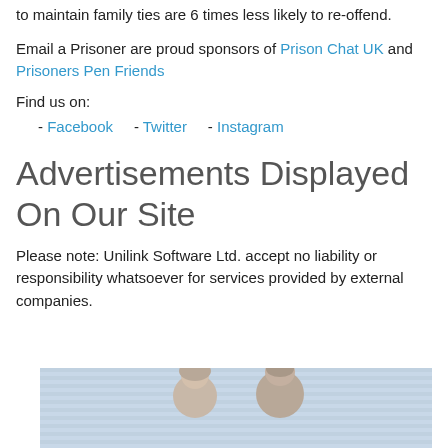to maintain family ties are 6 times less likely to re-offend.
Email a Prisoner are proud sponsors of Prison Chat UK and Prisoners Pen Friends
Find us on:
- Facebook    - Twitter    - Instagram
Advertisements Displayed On Our Site
Please note: Unilink Software Ltd. accept no liability or responsibility whatsoever for services provided by external companies.
[Figure (photo): Photo of two people (man and woman) in a light blue/grey toned image, partially visible at bottom of page.]